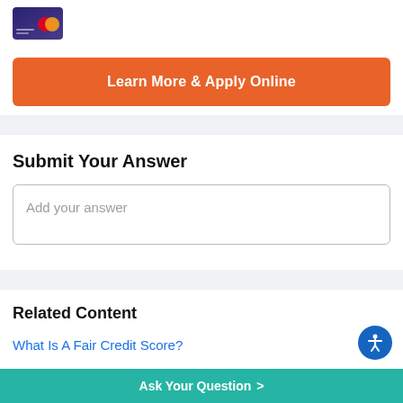[Figure (photo): Credit card image thumbnail in top left]
Learn More & Apply Online
Submit Your Answer
Add your answer
Related Content
What Is A Fair Credit Score?
What Is a Good Credit Score?
Ask Your Question >